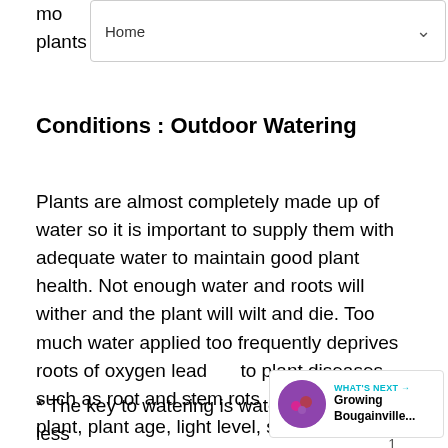mo…ed plants grow faster than non-mulched plants.
Home
Conditions : Outdoor Watering
Plants are almost completely made up of water so it is important to supply them with adequate water to maintain good plant health. Not enough water and roots will wither and the plant will wilt and die. Too much water applied too frequently deprives roots of oxygen leading to plant diseases such as root and stem rots. The type of plant, plant age, light level, soil type and container size all will impact when a plant needs to be watered. Follow th… ensure successful watering:
* The key to watering is water deeply and less…